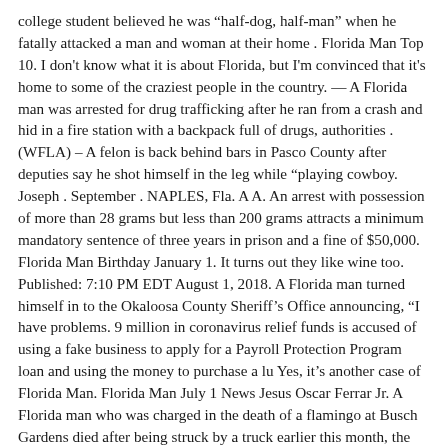college student believed he was “half-dog, half-man” when he fatally attacked a man and woman at their home . Florida Man Top 10. I don't know what it is about Florida, but I'm convinced that it's home to some of the craziest people in the country. — A Florida man was arrested for drug trafficking after he ran from a crash and hid in a fire station with a backpack full of drugs, authorities . (WFLA) – A felon is back behind bars in Pasco County after deputies say he shot himself in the leg while “playing cowboy. Joseph . September . NAPLES, Fla. A A. An arrest with possession of more than 28 grams but less than 200 grams attracts a minimum mandatory sentence of three years in prison and a fine of $50,000. Florida Man Birthday January 1. It turns out they like wine too. Published: 7:10 PM EDT August 1, 2018. A Florida man turned himself in to the Okaloosa County Sheriff’s Office announcing, “I have problems. 9 million in coronavirus relief funds is accused of using a fake business to apply for a Payroll Protection Program loan and using the money to purchase a lu Yes, it’s another case of Florida Man. Florida Man July 1 News Jesus Oscar Ferrar Jr. A Florida man who was charged in the death of a flamingo at Busch Gardens died after being struck by a truck earlier this month, the Tampa Bay Times reports. CLEARWATER, Fla. -- Another bizarre doorbell-licking incident was captured on camera, this time in Lake Worth, Florida. The man has problems, and no cheeseburger is one. Florida Man January 5. At about 6:30 p. A man is facing aggravated child abuse charges after throwing his two-month-old